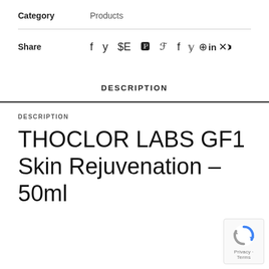Category    Products
Share  f  y  ⊕  in  ✕  ✈
DESCRIPTION
DESCRIPTION
THOCLOR LABS GF1 Skin Rejuvenation – 50ml
[Figure (logo): reCAPTCHA badge with Privacy and Terms text]